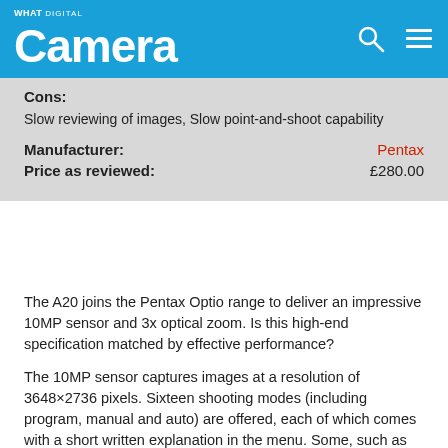What Digital Camera
Cons:
Slow reviewing of images, Slow point-and-shoot capability
Manufacturer: Pentax
Price as reviewed: £280.00
The A20 joins the Pentax Optio range to deliver an impressive 10MP sensor and 3x optical zoom. Is this high-end specification matched by effective performance?
The 10MP sensor captures images at a resolution of 3648×2736 pixels. Sixteen shooting modes (including program, manual and auto) are offered, each of which comes with a short written explanation in the menu. Some, such as 'Food', seem a touch redundant.